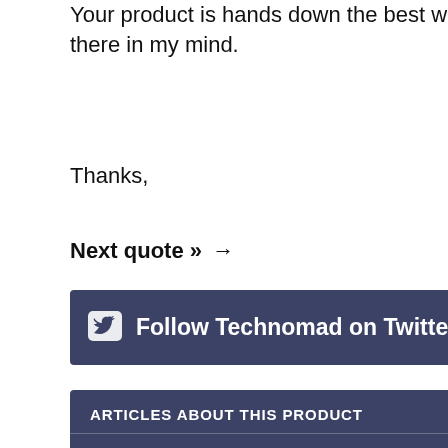Your product is hands down the best weather proof speaker out there in my mind.
Thanks,
Next quote » →
Follow Technomad on Twitter!
ARTICLES ABOUT THIS PRODUCT
What Do Technomad and Cal Ripken, Jr. Have in Common?
Technomad installed at the Highest Peak in Georgia
Berlin Loudspeakers blast